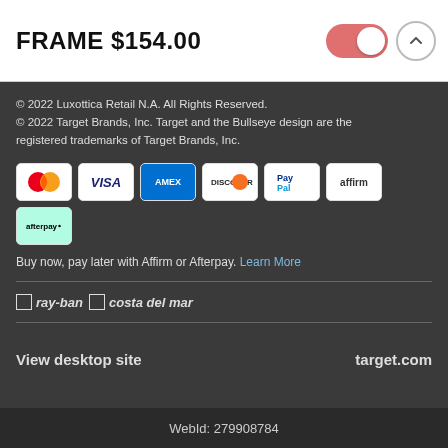FRAME $154.00
© 2022 Luxottica Retail N.A. All Rights Reserved.
© 2022 Target Brands, Inc. Target and the Bullseye design are the registered trademarks of Target Brands, Inc.
[Figure (other): Payment method icons: Mastercard, Visa, American Express, Discover, PayPal, Affirm, Afterpay]
Buy now, pay later with Affirm or Afterpay. Learn More
[Figure (logo): ray-ban and costa del mar brand logos]
View desktop site
target.com
WebId: 279908784